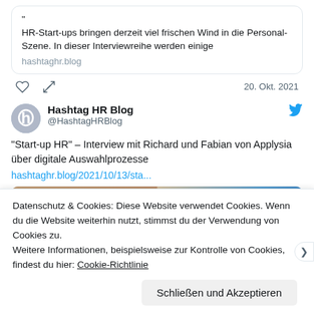HR-Start-ups bringen derzeit viel frischen Wind in die Personal-Szene. In dieser Interviewreihe werden einige
hashtaghr.blog
20. Okt. 2021
Hashtag HR Blog
@HashtagHRBlog
"Start-up HR" – Interview mit Richard und Fabian von Applysia über digitale Auswahlprozesse
hashtaghr.blog/2021/10/13/sta...
[Figure (photo): Two men smiling, with Applysia branding visible in background]
Datenschutz & Cookies: Diese Website verwendet Cookies. Wenn du die Website weiterhin nutzt, stimmst du der Verwendung von Cookies zu.
Weitere Informationen, beispielsweise zur Kontrolle von Cookies, findest du hier: Cookie-Richtlinie
Schließen und Akzeptieren